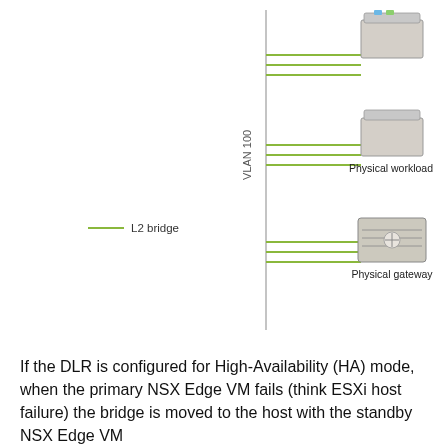[Figure (network-graph): Network diagram showing VLAN 100 connected to Physical workload (two server icons) and Physical gateway (switch/router icon), with green L2 bridge lines.]
L2 bridge
If the DLR is configured for High-Availability (HA) mode, when the primary NSX Edge VM fails (think ESXi host failure) the bridge is moved to the host with the standby NSX Edge VM
Privacy & Cookies: This site uses cookies. By continuing to use this website, you agree to their use.
To find out more, including how to control cookies, see here: Cookie Policy